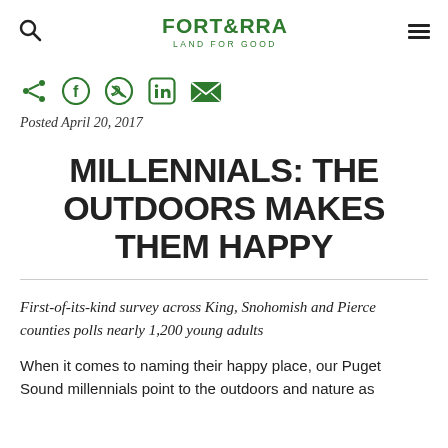FORTERRA LAND FOR GOOD
[Figure (infographic): Social share icons: share, Facebook, Twitter, LinkedIn, email — all in dark green]
Posted April 20, 2017
MILLENNIALS: THE OUTDOORS MAKES THEM HAPPY
First-of-its-kind survey across King, Snohomish and Pierce counties polls nearly 1,200 young adults
When it comes to naming their happy place, our Puget Sound millennials point to the outdoors and nature as